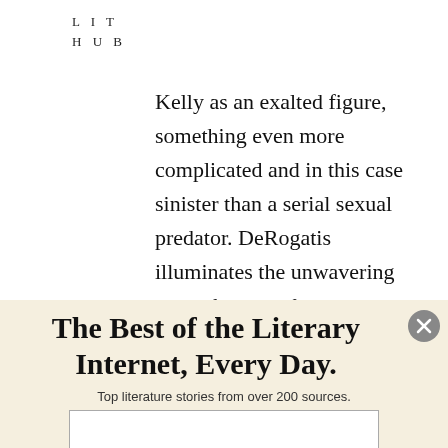LIT
HUB
Kelly as an exalted figure, something even more complicated and in this case sinister than a serial sexual predator. DeRogatis illuminates the unwavering love of Kelly's fans despite every despicable detail of decades of predation. Ultimately,
The Best of the Literary Internet, Every Day.
Top literature stories from over 200 sources.